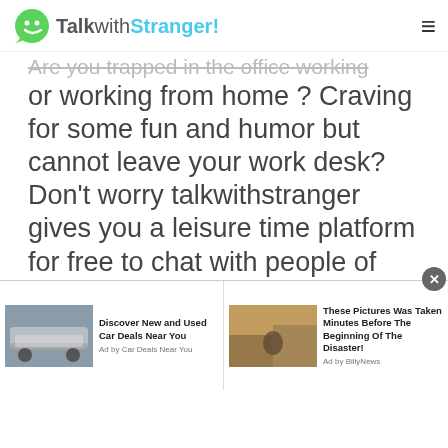TalkwithStranger!
Are you trapped in the office working or working from home ? Craving for some fun and humor but cannot leave your work desk? Don't worry talkwithstranger gives you a leisure time platform for free to chat with people of Comoros without having to leave your place but wanna get
[Figure (screenshot): Advertisement bar with two ad items: 'Discover New and Used Car Deals Near You' by Car Deals Near You, and 'These Pictures Was Taken Minutes Before The Beginning Of The Disaster!' by BillyNews. A close button (X) is shown in the top right of the ad bar.]